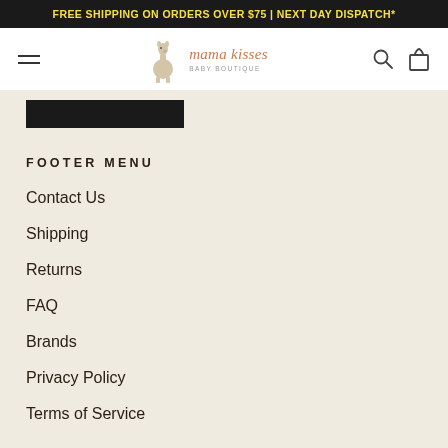FREE SHIPPING ON ORDERS OVER $75 | NEXT DAY DISPATCH*
[Figure (logo): Mama Kisses Baby Boutique logo with a llama illustration]
[Figure (other): Dark rectangle UI element (partially visible)]
FOOTER MENU
Contact Us
Shipping
Returns
FAQ
Brands
Privacy Policy
Terms of Service